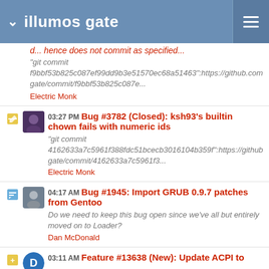illumos gate
"git commit f9bbf53b825c087ef99dd9b3e51570ec68a51463":https://github.com/gate/commit/f9bbf53b825c087e...
Electric Monk
03:27 PM Bug #3782 (Closed): ksh93's builtin chown fails with numeric ids
"git commit 4162633a7c5961f388fdc51bcecb3016104b359f":https://github.com/gate/commit/4162633a7c5961f3...
Electric Monk
04:17 AM Bug #1945: Import GRUB 0.9.7 patches from Gentoo
Do we need to keep this bug open since we've all but entirely moved on to Loader?
Dan McDonald
03:11 AM Feature #13638 (New): Update ACPI to